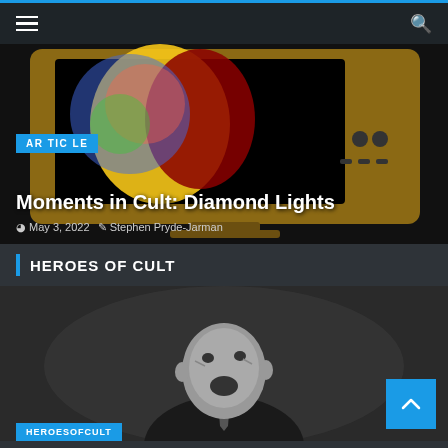Navigation bar with hamburger menu and search icon
[Figure (photo): Colorful pop-art style illustration on a vintage TV screen showing two figures, displayed in a dark/black frame]
ARTICLE
Moments in Cult: Diamond Lights
May 3, 2022  Stephen Pryde-Jarman
HEROES OF CULT
[Figure (photo): Black and white photograph of a heavyset bald man looking upward with mouth open, wearing a suit and tie]
HEROESOFCULT